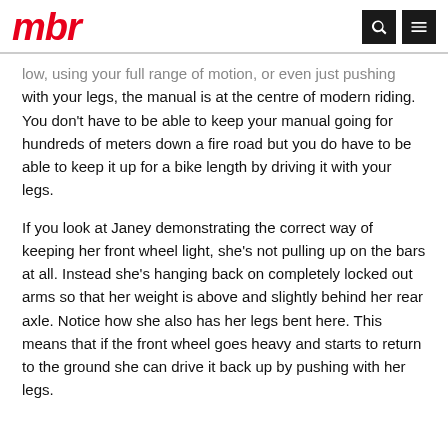mbr
low, using your full range of motion, or even just pushing with your legs, the manual is at the centre of modern riding. You don't have to be able to keep your manual going for hundreds of meters down a fire road but you do have to be able to keep it up for a bike length by driving it with your legs.
If you look at Janey demonstrating the correct way of keeping her front wheel light, she's not pulling up on the bars at all. Instead she's hanging back on completely locked out arms so that her weight is above and slightly behind her rear axle. Notice how she also has her legs bent here. This means that if the front wheel goes heavy and starts to return to the ground she can drive it back up by pushing with her legs.